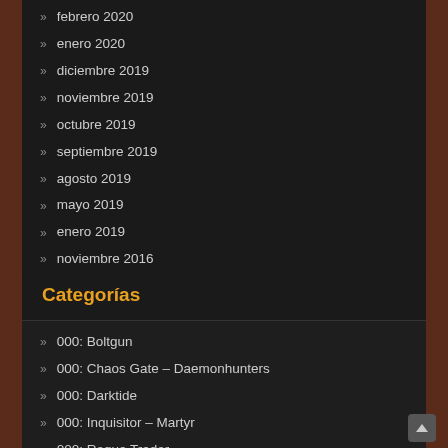febrero 2020
enero 2020
diciembre 2019
noviembre 2019
octubre 2019
septiembre 2019
agosto 2019
mayo 2019
enero 2019
noviembre 2016
Categorías
000: Boltgun
000: Chaos Gate – Daemonhunters
000: Darktide
000: Inquisitor – Martyr
000: Rogue Trader
000: Warpforge
007
1 2 Switch
101 dalmatians